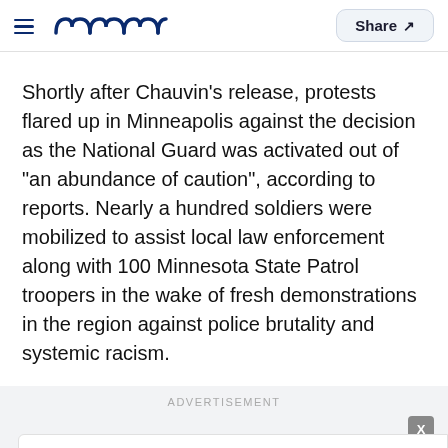meaww — Share
Shortly after Chauvin's release, protests flared up in Minneapolis against the decision as the National Guard was activated out of "an abundance of caution", according to reports. Nearly a hundred soldiers were mobilized to assist local law enforcement along with 100 Minnesota State Patrol troopers in the wake of fresh demonstrations in the region against police brutality and systemic racism.
ADVERTISEMENT